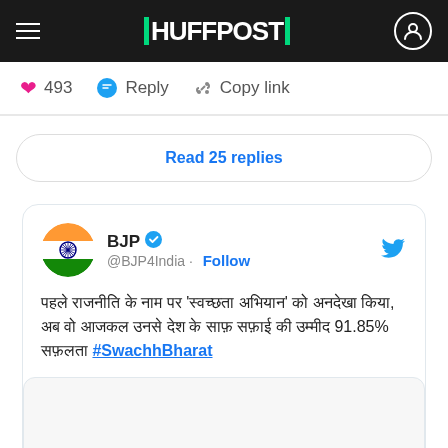HUFFPOST
493  Reply  Copy link
Read 25 replies
BJP @BJP4India · Follow
पहले राजनीति के नाम पर 'स्वच्छता अभियान' को अनदेखा किया, अब वो आजकल उनसे देश के साफ़ सफ़ाई की उम्मीद 91.85% सफ़लता #SwachhBharat
[Figure (screenshot): Embedded tweet image placeholder (blank/loading area)]